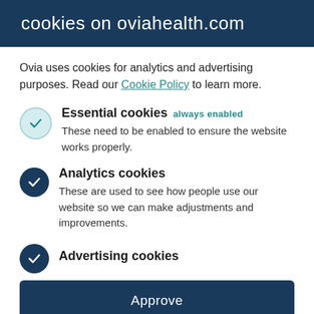cookies on oviahealth.com
Ovia uses cookies for analytics and advertising purposes. Read our Cookie Policy to learn more.
Essential cookies always enabled — These need to be enabled to ensure the website works properly.
Analytics cookies — These are used to see how people use our website so we can make adjustments and improvements.
Advertising cookies
Approve